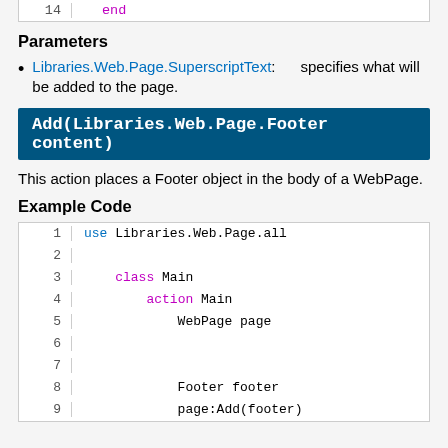14    end
Parameters
Libraries.Web.Page.SuperscriptText: specifies what will be added to the page.
Add(Libraries.Web.Page.Footer content)
This action places a Footer object in the body of a WebPage.
Example Code
1  use Libraries.Web.Page.all
2
3      class Main
4          action Main
5              WebPage page
6
7
8              Footer footer
9              page:Add(footer)